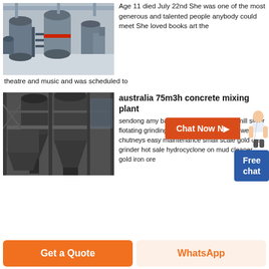[Figure (photo): Industrial machinery/ball mill equipment in a factory setting]
Age 11 died July 22nd She was one of the most generous and talented people anybody could meet She loved books art the theatre and music and was scheduled to
[Figure (other): Chat Now button with person illustration and Free chat box]
[Figure (photo): Industrial processing equipment/concrete mixing plant with cyclone separators in a large facility]
australia 75m3h concrete mixing plant
sendong amy ball mill supplier rusia ball mill silver flotating grinding stone to prepare zimbabwe chutneys easy maintenance small scale gold ore grinder hot sale hydrocyclone on mud cleaner gold iron ore
Get a Quote
WhatsApp